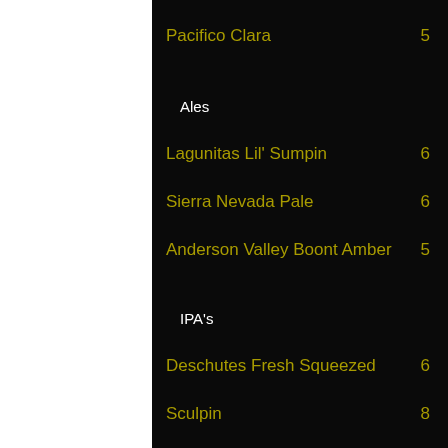Pacifico Clara    5
Ales
Lagunitas Lil' Sumpin    6
Sierra Nevada Pale    6
Anderson Valley Boont Amber    5
IPA's
Deschutes Fresh Squeezed    6
Sculpin    8
Belgian Style
Blue Moon Belgian White    5